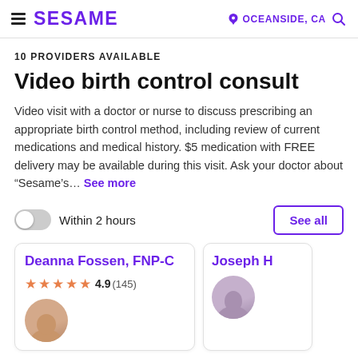SESAME | OCEANSIDE, CA
10 PROVIDERS AVAILABLE
Video birth control consult
Video visit with a doctor or nurse to discuss prescribing an appropriate birth control method, including review of current medications and medical history. $5 medication with FREE delivery may be available during this visit. Ask your doctor about "Sesame's... See more
Within 2 hours
See all
Deanna Fossen, FNP-C
4.9 (145)
Joseph H